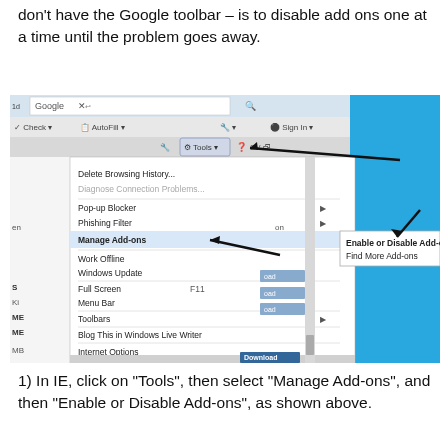don't have the Google toolbar – is to disable add ons one at a time until the problem goes away.
[Figure (screenshot): Internet Explorer browser window screenshot showing the Tools menu open with options including Delete Browsing History, Diagnose Connection Problems, Pop-up Blocker, Phishing Filter, Manage Add-ons (highlighted), Work Offline, Windows Update, Full Screen F11, Menu Bar, Toolbars, Blog This in Windows Live Writer, Internet Options. A submenu from Manage Add-ons shows 'Enable or Disable Add-ons' and 'Find More Add-ons'. Black arrows point to the Tools button and to 'Enable or Disable Add-ons'.]
1) In IE, click on “Tools”, then select “Manage Add-ons”, and then “Enable or Disable Add-ons”, as shown above.